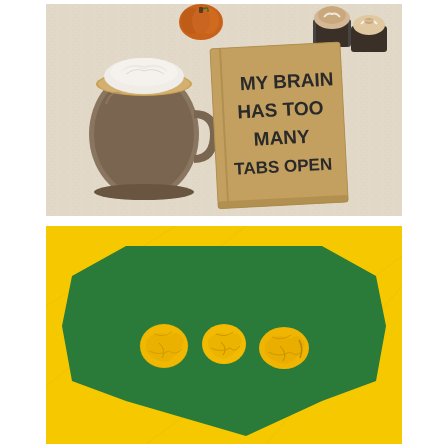[Figure (photo): Overhead view on a knitted cream/beige textile background showing a yellow-handled glass mug filled with a creamy latte topped with whipped cream, an orange decorative pumpkin, two chocolate cupcakes with frosting in the top right corner, and a brown kraft paper notebook/journal with bold black text reading 'MY BRAIN HAS TOO MANY TABS OPEN'.]
[Figure (photo): Bright yellow background with a dark green irregular octagon/speech-bubble-shaped flat paper in the center. On the green paper sit three crumpled yellow paper balls arranged in a row.]